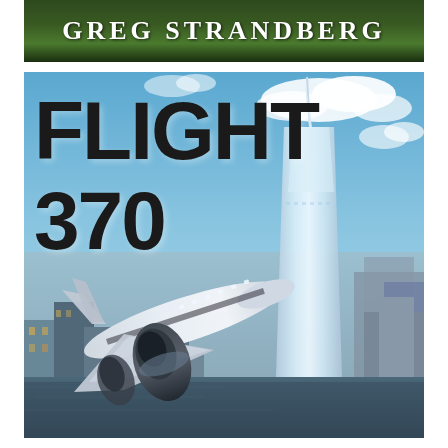GREG STRANDBERG
[Figure (illustration): Book cover for 'Flight 370' by Greg Strandberg. Shows a large commercial airplane flying over a New York City skyline with the One World Trade Center tower prominent on the right. The background has a blue sky with clouds. Bold black text reads 'FLIGHT 370' on the left side of the cover.]
FLIGHT 370